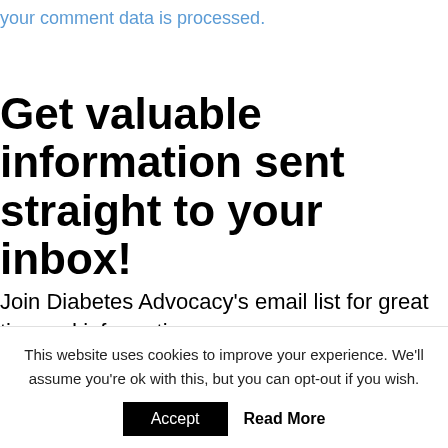your comment data is processed.
Get valuable information sent straight to your inbox!
Join Diabetes Advocacy's email list for great tips and information.
Email
EMAIL
This website uses cookies to improve your experience. We'll assume you're ok with this, but you can opt-out if you wish.
Accept
Read More